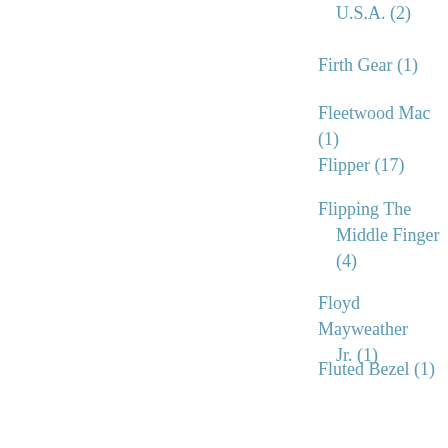U.S.A. (2)
Firth Gear (1)
Fleetwood Mac (1)
Flipper (17)
Flipping The Middle Finger (4)
Floyd Mayweather Jr. (1)
Fluted Bezel (1)
Flying (1)
Food Shot Of The Day (2)
Football (10)
Football Coach (5)
Football Player (12)
Forbes Magazine (2)
Ford GT (1)
Ford Motor Company (3)